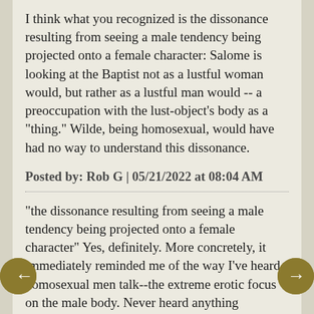I think what you recognized is the dissonance resulting from seeing a male tendency being projected onto a female character: Salome is looking at the Baptist not as a lustful woman would, but rather as a lustful man would -- a preoccupation with the lust-object's body as a "thing." Wilde, being homosexual, would have had no way to understand this dissonance.
Posted by: Rob G | 05/21/2022 at 08:04 AM
"the dissonance resulting from seeing a male tendency being projected onto a female character" Yes, definitely. More concretely, it immediately reminded me of the way I've heard homosexual men talk--the extreme erotic focus on the male body. Never heard anything